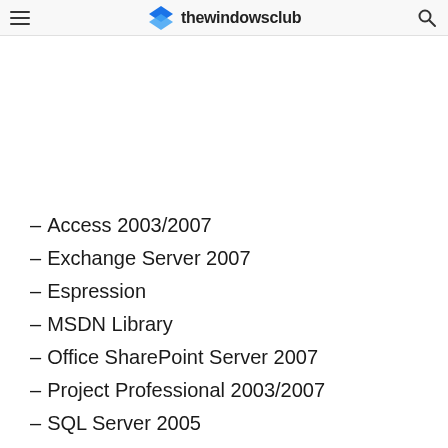thewindowsclub
– Access 2003/2007
– Exchange Server 2007
– Espression
– MSDN Library
– Office SharePoint Server 2007
– Project Professional 2003/2007
– SQL Server 2005
– Visio Professional 2003/2007
– Visual Studio .NET 2002/2003/2005/2008